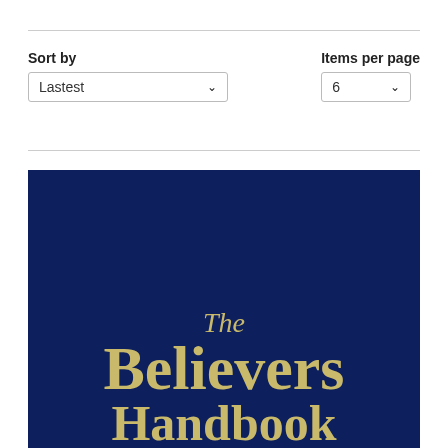Sort by
Lastest
Items per page
6
[Figure (illustration): Book cover with dark navy blue background showing the title 'The Believers Handbook' in gold/yellow serif font]